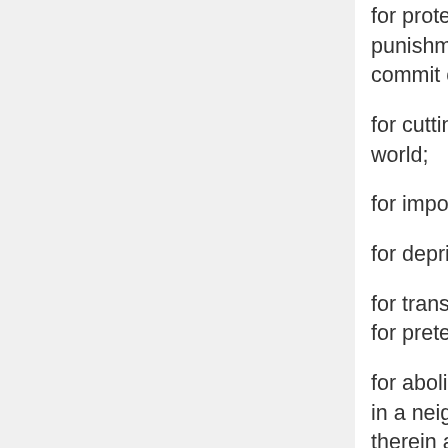for protecting them by a mock-trial from punishment for any murders they should commit on the inhabitants of these states;
for cutting off our trade with all parts of the world;
for imposing taxes on us without our consent;
for depriving us of the benefits of trial by jury;
for transporting us beyond seas to be tried for pretended offences;
for abolishing the free system of English laws in a neighbouring Province, establishing therein an arbitrary government, and